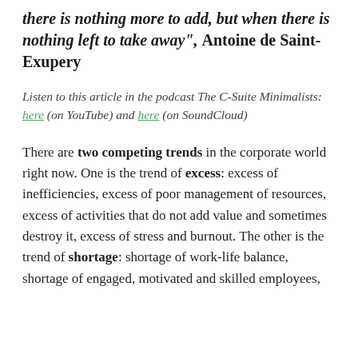there is nothing more to add, but when there is nothing left to take away", Antoine de Saint-Exupery
Listen to this article in the podcast The C-Suite Minimalists: here (on YouTube) and here (on SoundCloud)
There are two competing trends in the corporate world right now. One is the trend of excess: excess of inefficiencies, excess of poor management of resources, excess of activities that do not add value and sometimes destroy it, excess of stress and burnout. The other is the trend of shortage: shortage of work-life balance, shortage of engaged, motivated and skilled employees,